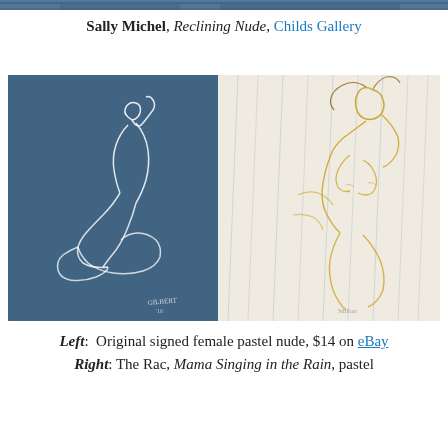[Figure (photo): Thin decorative image strip at top of page showing partial artwork]
Sally Michel, Reclining Nude, Childs Gallery
[Figure (photo): Left: White chalk/pastel figure drawing of a seated nude woman on blue-gray background, signed. Right: Yellow and light-colored pastel/line drawing of a reclining nude figure in the rain.]
Left: Original signed female pastel nude, $14 on eBay. Right: The Rac, Mama Singing in the Rain, pastel